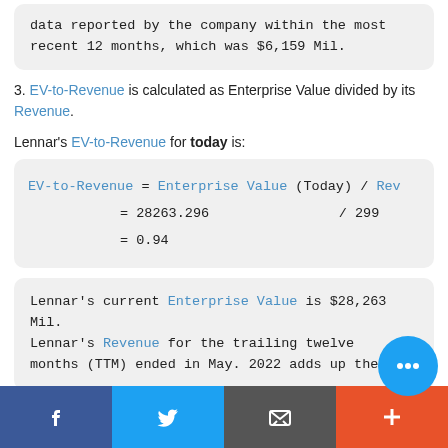data reported by the company within the most recent 12 months, which was $6,159 Mil.
3. EV-to-Revenue is calculated as Enterprise Value divided by its Revenue.
Lennar's EV-to-Revenue for today is:
Lennar's current Enterprise Value is $28,263 Mil. Lennar's Revenue for the trailing twelve months (TTM) ended in May. 2022 adds up the
Facebook | Twitter | Email | +